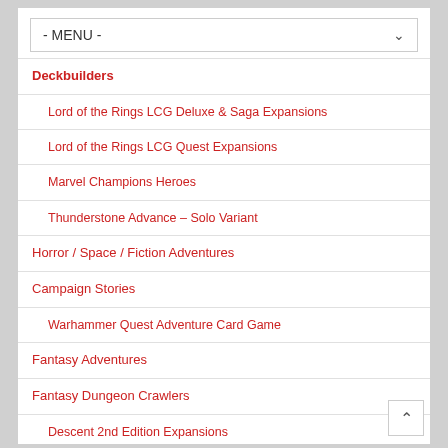- MENU -
Deckbuilders
Lord of the Rings LCG Deluxe & Saga Expansions
Lord of the Rings LCG Quest Expansions
Marvel Champions Heroes
Thunderstone Advance – Solo Variant
Horror / Space / Fiction Adventures
Campaign Stories
Warhammer Quest Adventure Card Game
Fantasy Adventures
Fantasy Dungeon Crawlers
Descent 2nd Edition Expansions
Family Competitive Games
Links Course Profiles